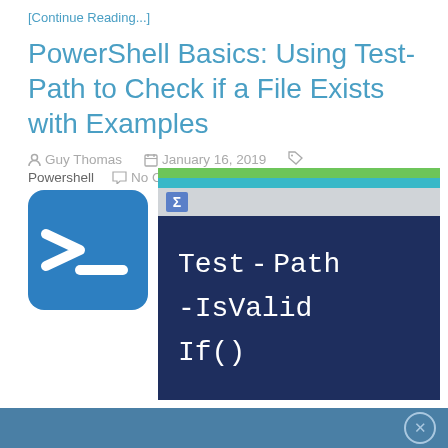[Continue Reading...]
PowerShell Basics: Using Test-Path to Check if a File Exists with Examples
Guy Thomas   January 16, 2019   Powershell   No Comments
[Figure (screenshot): PowerShell logo icon (blue square with white > prompt symbol) on left, and a PowerShell terminal window on right showing 'Test-Path -IsValid If()' text in white on dark blue background with green and teal title bar.]